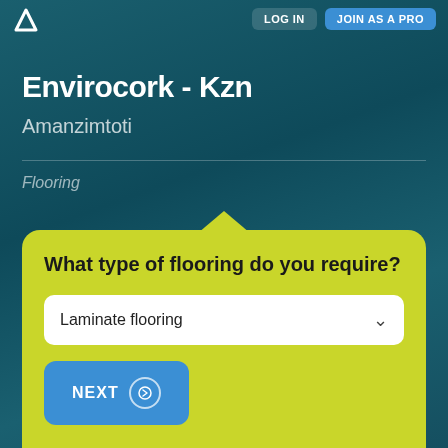LOG IN | JOIN AS A PRO
Envirocork - Kzn
Amanzimtoti
Flooring
What type of flooring do you require?
Laminate flooring
NEXT